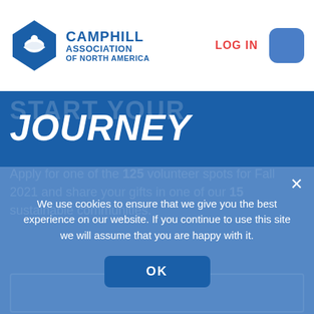[Figure (logo): Camphill Association of North America logo with blue diamond/shield icon and text]
LOG IN
JOURNEY
Apply for one of the 125 volunteer spots for Fall 2021 and share your gifts in one of our 15 sustainable communities.
We use cookies to ensure that we give you the best experience on our website. If you continue to use this site we will assume that you are happy with it.